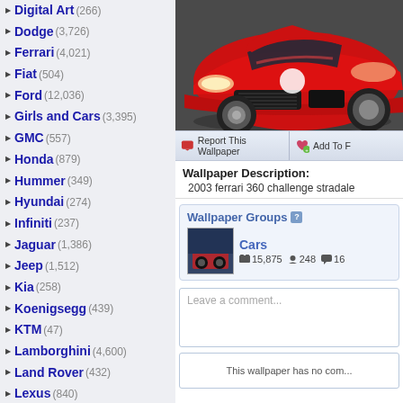Digital Art (266)
Dodge (3,726)
Ferrari (4,021)
Fiat (504)
Ford (12,036)
Girls and Cars (3,395)
GMC (557)
Honda (879)
Hummer (349)
Hyundai (274)
Infiniti (237)
Jaguar (1,386)
Jeep (1,512)
Kia (258)
Koenigsegg (439)
KTM (47)
Lamborghini (4,600)
Land Rover (432)
Lexus (840)
Lincoln (478)
Lotus (495)
Maserati (373)
Mazda (552)
McLaren (755)
Mercedes (2,964)
Mini Cooper (332)
Mitsubishi (517)
Motorcycles (Link)
Nissan (1,497)
Oldsmobile (492)
[Figure (photo): Red Ferrari 360 Challenge Stradale front view on dark background]
Report This Wallpaper
Add To F...
Wallpaper Description:
2003 ferrari 360 challenge stradale
Wallpaper Groups
Cars  15,875  248  16
Leave a comment...
This wallpaper has no com...